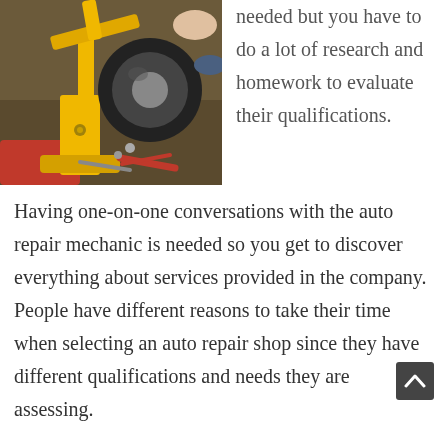[Figure (photo): A yellow hydraulic floor jack lifting a car tire, with tools (pliers, screwdriver) on a garage floor. A person's hand and foot are visible in the background.]
needed but you have to do a lot of research and homework to evaluate their qualifications.
Having one-on-one conversations with the auto repair mechanic is needed so you get to discover everything about services provided in the company. People have different reasons to take their time when selecting an auto repair shop since they have different qualifications and needs they are assessing.
Once you meet up with the Mechanic you have to ask them about their warranty to make sure different auto parts that will be used for the repairs are properly